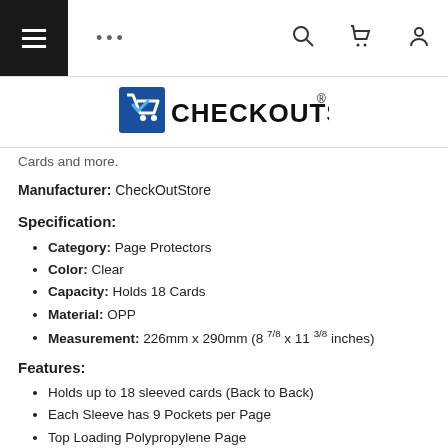Navigation bar with menu, dots, search, cart, and account icons
[Figure (logo): CheckOutStore logo with blue shopping cart icon and bold text CHECKOUTSTORE with registered trademark symbol]
Cards and more.
Manufacturer: CheckOutStore
Specification:
Category: Page Protectors
Color: Clear
Capacity: Holds 18 Cards
Material: OPP
Measurement: 226mm x 290mm (8 7/8 x 11 3/8 inches)
Features:
Holds up to 18 sleeved cards (Back to Back)
Each Sleeve has 9 Pockets per Page
Top Loading Polypropylene Page